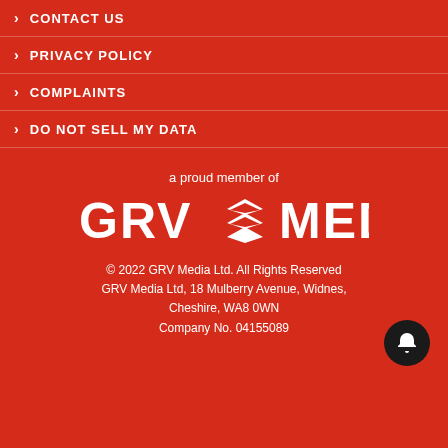CONTACT US
PRIVACY POLICY
COMPLAINTS
DO NOT SELL MY DATA
a proud member of
[Figure (logo): GRV Media logo with chevron/diamond stacked layers icon between GRV and MEDIA text]
© 2022 GRV Media Ltd. All Rights Reserved
GRV Media Ltd, 18 Mulberry Avenue, Widnes,
Cheshire, WA8 0WN
Company No. 04155089